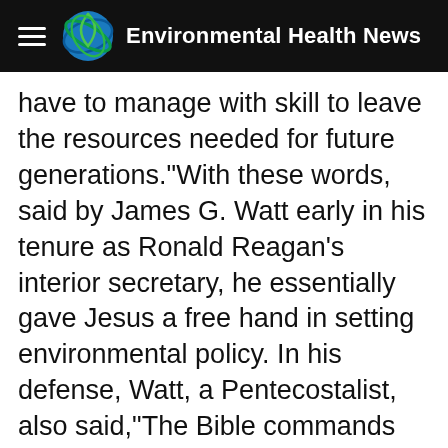Environmental Health News
have to manage with skill to leave the resources needed for future generations."With these words, said by James G. Watt early in his tenure as Ronald Reagan's interior secretary, he essentially gave Jesus a free hand in setting environmental policy. In his defense, Watt, a Pentecostalist, also said,"The Bible commands conservation — that we as Christians be careful stewards of the land and resources entrusted to us by the Creator."Watt was also misquoted widely , suggesting that the